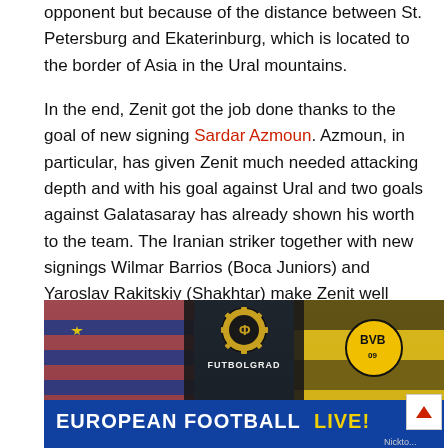opponent but because of the distance between St. Petersburg and Ekaterinburg, which is located to the border of Asia in the Ural mountains.
In the end, Zenit got the job done thanks to the goal of new signing Sardar Azmoun. Azmoun, in particular, has given Zenit much needed attacking depth and with his goal against Ural and two goals against Galatasaray has already shown his worth to the team. The Iranian striker together with new signings Wilmar Barrios (Boca Juniors) and Yaroslav Rakitskiy (Shakhtar) make Zenit well equipped for the upcoming challenges in the Russian Premier Liga, where Zenit are now three points clear at the top of the table, and the Europa League.
[Figure (photo): Futbolgrad banner advertisement for European Football Live featuring football fans with Barcelona and BVB Borussia Dortmund scarves and flags]